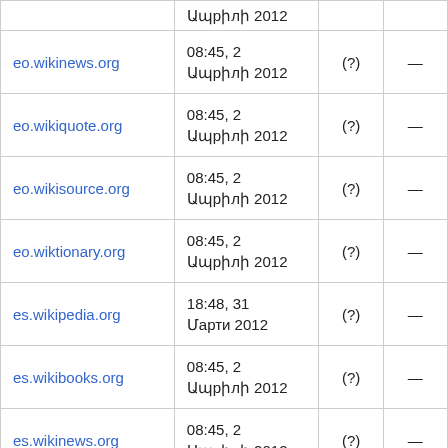| Site | Date | (?) | — |
| --- | --- | --- | --- |
|  | Ապրիլի 2012 |  |  |
| eo.wikinews.org | 08:45, 2 Ապրիլի 2012 | (?) | — |
| eo.wikiquote.org | 08:45, 2 Ապրիլի 2012 | (?) | — |
| eo.wikisource.org | 08:45, 2 Ապրիլի 2012 | (?) | — |
| eo.wiktionary.org | 08:45, 2 Ապրիլի 2012 | (?) | — |
| es.wikipedia.org | 18:48, 31 Մարտի 2012 | (?) | — |
| es.wikibooks.org | 08:45, 2 Ապրիլի 2012 | (?) | — |
| es.wikinews.org | 08:45, 2 Ապրիլի 2012 | (?) | — |
|  |  |  |  |